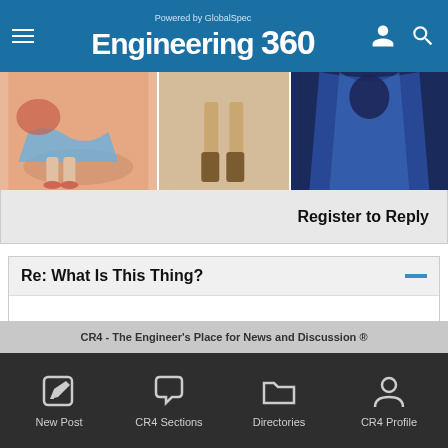Powered by GlobalSpec Engineering 360
[Figure (illustration): Partial image strip showing cartoon/animated figures - legs and feet visible, characters in colorful clothing against pink and dark blue backgrounds]
Register to Reply
Re: What Is This Thing?
Nooo....You need brass, velvet, mahogany, helpless women....
[Figure (other): Broken/placeholder image thumbnail]
CR4 - The Engineer's Place for News and Discussion ®
New Post  CR4 Sections  Directories  CR4 Profile